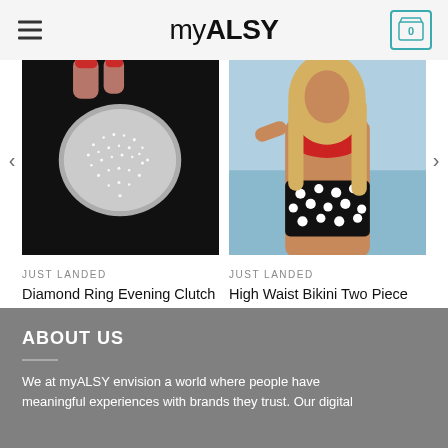myALSY
[Figure (photo): Diamond ring evening clutch bag — silver rhinestone heart-shaped bag held by a hand with red nails against a black background]
JUST LANDED
Diamond Ring Evening Clutch Bag
$42.68
[Figure (photo): High waist bikini two piece women swimwear — woman wearing red top and black polka dot high-waist bottoms on a beach]
JUST LANDED
High Waist Bikini Two Piece Women Swimwear
$42.90 – $46.64
ABOUT US
We at myALSY envision a world where people have meaningful experiences with brands they trust. Our digital